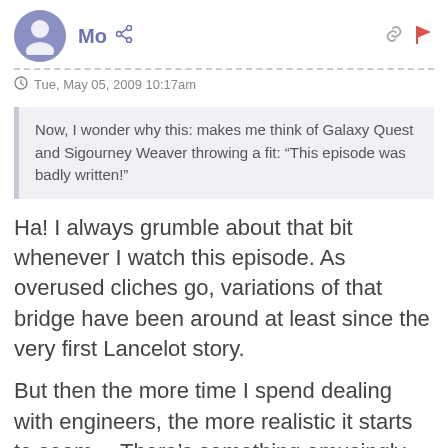Mo
Tue, May 05, 2009 10:17am
Now, I wonder why this: makes me think of Galaxy Quest and Sigourney Weaver throwing a fit: “This episode was badly written!”
Ha! I always grumble about that bit whenever I watch this episode. As overused cliches go, variations of that bridge have been around at least since the very first Lancelot story.
But then the more time I spend dealing with engineers, the more realistic it starts to seem… There’s something amusingly, frustratingly reassuring about bad design still be causing billions of years in the